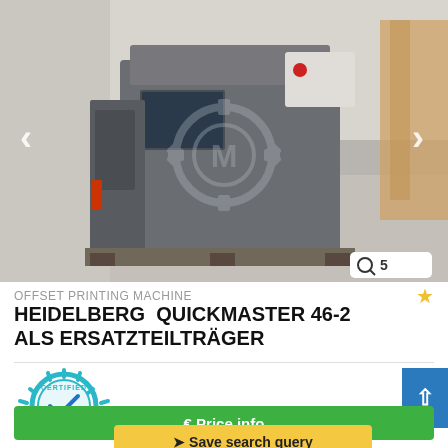[Figure (photo): Grey industrial offset printing machine (Heidelberg Quickmaster 46-2) on pallet in a warehouse/showroom, with navigation arrows and watermark logo overlay. Image counter showing 5 images.]
OFFSET PRINTING MACHINE
HEIDELBERG  QUICKMASTER 46-2 ALS ERSATZTEILTRÄGER
[Figure (logo): Certified Dealer badge/seal in teal/blue with checkmark]
€ Price info
Save search query